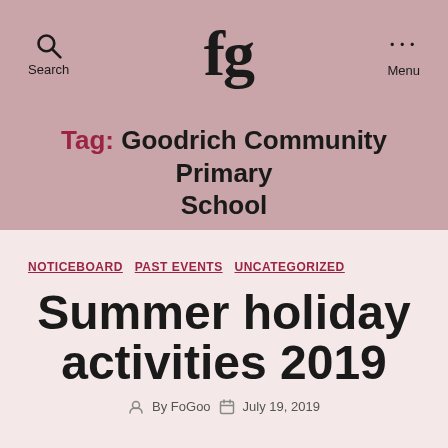Search | fg logo | Menu
Tag: Goodrich Community Primary School
NOTICEBOARD  PAST EVENTS  UNCATEGORIZED
Summer holiday activities 2019
By FoGoo  July 19, 2019